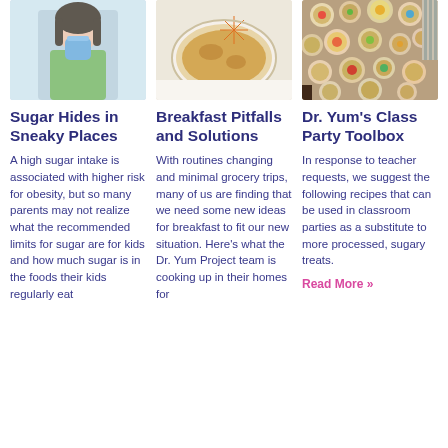[Figure (photo): Young girl drinking from a blue cup]
Sugar Hides in Sneaky Places
A high sugar intake is associated with higher risk for obesity, but so many parents may not realize what the recommended limits for sugar are for kids and how much sugar is in the foods their kids regularly eat
[Figure (photo): Bowl of oatmeal or cereal with fruit on white surface]
Breakfast Pitfalls and Solutions
With routines changing and minimal grocery trips, many of us are finding that we need some new ideas for breakfast to fit our new situation. Here's what the Dr. Yum Project team is cooking up in their homes for
[Figure (photo): Overhead view of many dishes of food on a table]
Dr. Yum's Class Party Toolbox
In response to teacher requests, we suggest the following recipes that can be used in classroom parties as a substitute to more processed, sugary treats.
Read More »